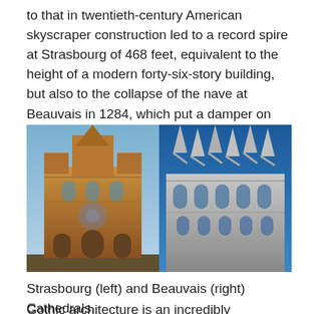to that in twentieth-century American skyscraper construction led to a record spire at Strasbourg of 468 feet, equivalent to the height of a modern forty-six-story building, but also to the collapse of the nave at Beauvais in 1284, which put a damper on the competition” (Gies).
[Figure (photo): Two side-by-side photos of Gothic cathedrals: Strasbourg Cathedral on the left showing its tall ornate facade in warm sandstone tones against a blue sky, and Beauvais Cathedral on the right showing its elaborate Gothic flying buttresses and spires in grey stone against a bright blue sky.]
Strasbourg (left) and Beauvais (right) Cathedrals.
Gothic architecture is an incredibly significant aspect of art